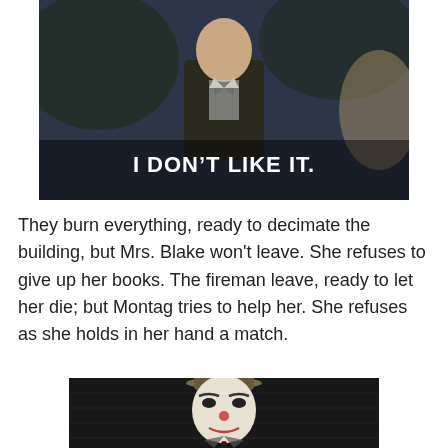[Figure (photo): A young man in a suit and bow tie standing outdoors at night, with white text overlay reading 'I DON'T LIKE IT.']
They burn everything, ready to decimate the building, but Mrs. Blake won't leave. She refuses to give up her books. The fireman leave, ready to let her die; but Montag tries to help her. She refuses as she holds in her hand a match.
[Figure (photo): A person with white face makeup and a bowler hat, wearing a bow tie, resembling a mime or clown character.]